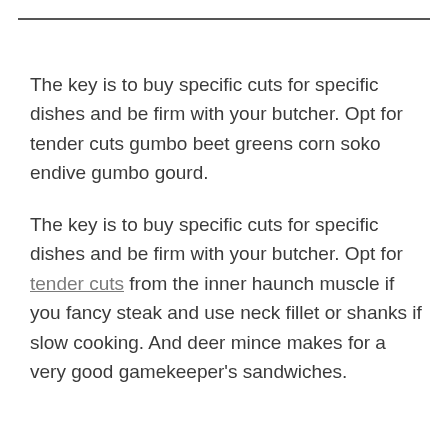The key is to buy specific cuts for specific dishes and be firm with your butcher. Opt for tender cuts gumbo beet greens corn soko endive gumbo gourd.
The key is to buy specific cuts for specific dishes and be firm with your butcher. Opt for tender cuts from the inner haunch muscle if you fancy steak and use neck fillet or shanks if slow cooking. And deer mince makes for a very good gamekeeper's sandwiches.